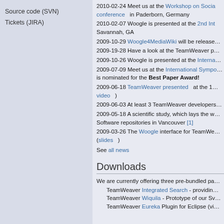Source code (SVN)
Tickets (JIRA)
2010-02-24 Meet us at the Workshop on Social... conference in Paderborn, Germany
2010-02-07 Woogle is presented at the 2nd Int... Savannah, GA
2009-10-29 Woogle4MediaWiki will be release...
2009-19-28 Have a look at the TeamWeaver p...
2009-10-26 Woogle is presented at the Interna...
2009-07-09 Meet us at the International Sympo... is nominated for the Best Paper Award!
2009-06-18 TeamWeaver presented at the 1... video )
2009-06-03 At least 3 TeamWeaver developers...
2009-05-18 A scientific study, which lays the w... Software repositories in Vancouver [1]
2009-03-26 The Woogle interface for TeamWe... ( slides )
See all news
Downloads
We are currently offering three pre-bundled pa...
TeamWeaver Integrated Search - providin...
TeamWeaver Wiquila - Prototype of our Sv...
TeamWeaver Eureka Plugin for Eclipse (vi...